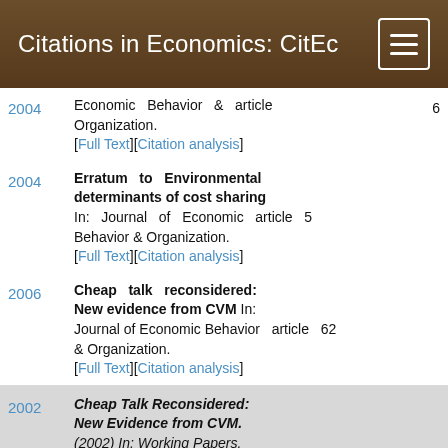Citations in Economics: CitEc
2004 Economic Behavior & Organization. article 6 [Full Text][Citation analysis]
2004 Erratum to Environmental determinants of cost sharing In: Journal of Economic Behavior & Organization. article 5 [Full Text][Citation analysis]
2006 Cheap talk reconsidered: New evidence from CVM In: Journal of Economic Behavior & Organization. article 62 [Full Text][Citation analysis]
2002 Cheap Talk Reconsidered: New Evidence from CVM. (2002) In: Working Papers. [Full Text][Citation analysis] This paper has another version. Agregated cites: 62 paper